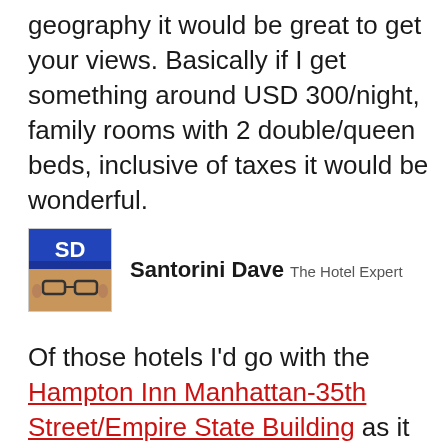geography it would be great to get your views. Basically if I get something around USD 300/night, family rooms with 2 double/queen beds, inclusive of taxes it would be wonderful.
[Figure (photo): Avatar photo of Santorini Dave wearing a blue baseball cap with 'SD' on it]
Santorini Dave  The Hotel Expert
Of those hotels I'd go with the Hampton Inn Manhattan-35th Street/Empire State Building as it has a great central location and free breakfast (Hampton's have a pretty good free breakfast).